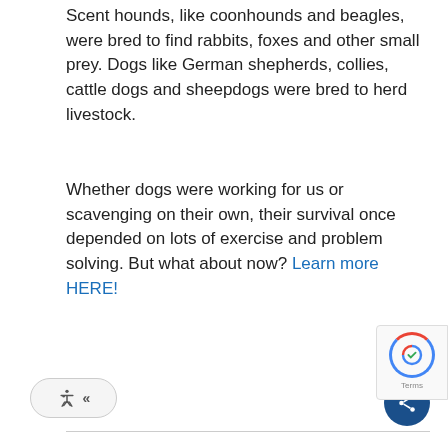Scent hounds, like coonhounds and beagles, were bred to find rabbits, foxes and other small prey. Dogs like German shepherds, collies, cattle dogs and sheepdogs were bred to herd livestock.
Whether dogs were working for us or scavenging on their own, their survival once depended on lots of exercise and problem solving. But what about now? Learn more HERE!